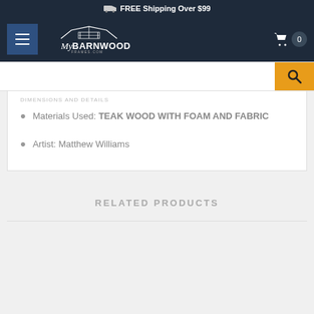FREE Shipping Over $99
[Figure (screenshot): MyBarnwoodFrames.com website navigation bar with hamburger menu, logo, and cart icon showing 0 items]
[Figure (screenshot): Search bar with orange search button]
Materials Used: TEAK WOOD WITH FOAM AND FABRIC
Artist: Matthew Williams
RELATED PRODUCTS